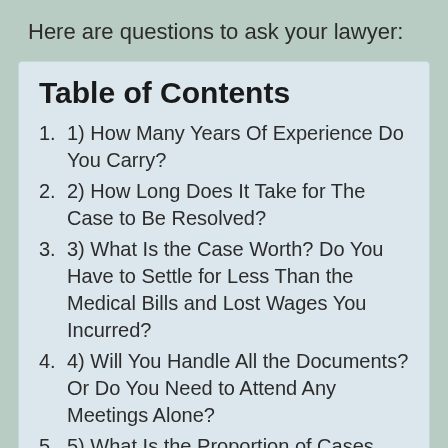Here are questions to ask your lawyer:
Table of Contents
1) How Many Years Of Experience Do You Carry?
2) How Long Does It Take for The Case to Be Resolved?
3) What Is the Case Worth? Do You Have to Settle for Less Than the Medical Bills and Lost Wages You Incurred?
4) Will You Handle All the Documents? Or Do You Need to Attend Any Meetings Alone?
5) What Is the Proportion of Cases That